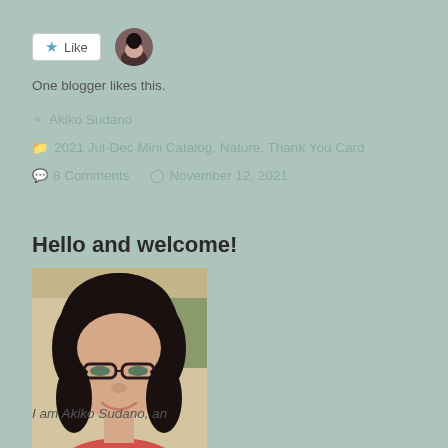[Figure (other): Like button widget with star icon and small circular avatar of a person]
One blogger likes this.
Akiko Sudano
2021 Jul-Dec Mini Catalog, Nature, Thank You Card
8 Comments   November 12, 2021
Hello and welcome!
[Figure (photo): Portrait photo of Akiko Sudano, a woman with dark hair, glasses, wearing a red/pink top, smiling]
I am Akiko Sudano, an